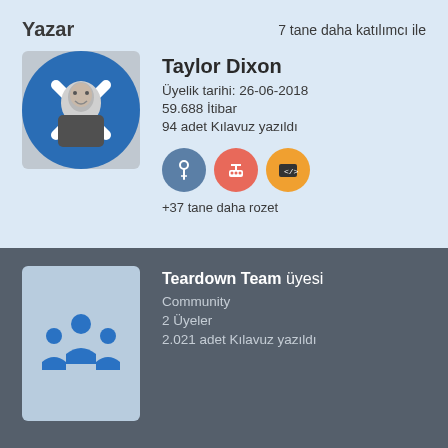Yazar
7 tane daha katılımcı ile
[Figure (photo): Profile photo of Taylor Dixon – black and white photo of a smiling man in front of a blue circular logo with X mark]
Taylor Dixon
Üyelik tarihi: 26-06-2018
59.688 İtibar
94 adet Kılavuz yazıldı
[Figure (illustration): Three badge icons: blue needle/thread badge, red router/network badge, orange code bracket badge]
+37 tane daha rozet
[Figure (illustration): Team icon: group of people silhouettes in blue on light blue background]
Teardown Team üyesi
Community
2 Üyeler
2.021 adet Kılavuz yazıldı